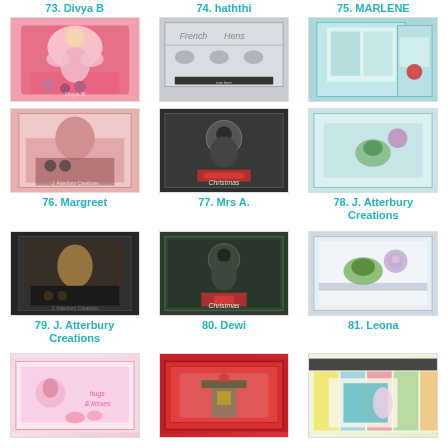73. Divya B
[Figure (photo): Craft card with fairy doll, hearts, pink flowers]
74. haththi
[Figure (photo): Gray card with French Hens birds stamped design]
75. MARLENE
[Figure (photo): Teal easel card with Christmas decorations]
76. Margreet
[Figure (photo): Vintage style easel card with woman figure]
77. Mrs A.
[Figure (photo): Dark chalkboard style Christmas card with baby and ribbon]
78. J. Atterbury Creations
[Figure (photo): Light blue card with green dragon and purple flower]
79. J. Atterbury Creations
[Figure (photo): Dark layered easel card with vintage woman]
80. Dewi
[Figure (photo): Chalkboard Christmas card with Merry Christmas text and bow]
81. Leona
[Figure (photo): Light card with green dragon and purple snowflake die cut]
82
[Figure (photo): Pink card with bunny and hugs and kisses text]
83
[Figure (photo): Red card with mailbox and bird design]
84
[Figure (photo): Striped card with fairy and bookmark]